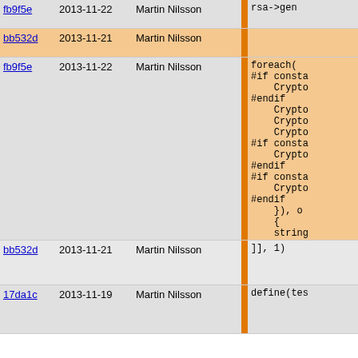| hash | date | author |  | code |
| --- | --- | --- | --- | --- |
| fb9f5e | 2013-11-22 | Martin Nilsson |  | rsa->gen |
| bb532d | 2013-11-21 | Martin Nilsson |  |  |
| fb9f5e | 2013-11-22 | Martin Nilsson |  | foreach(
#if consta
    Crypto
#endif
    Crypto
    Crypto
    Crypto
#if consta
    Crypto
#endif
#if consta
    Crypto
#endif
    }), o
    {
    string
    if( !S
        retu
    }
    return 1 |
| bb532d | 2013-11-21 | Martin Nilsson |  | ]], 1) |
| 17da1c | 2013-11-19 | Martin Nilsson |  | define(tes |